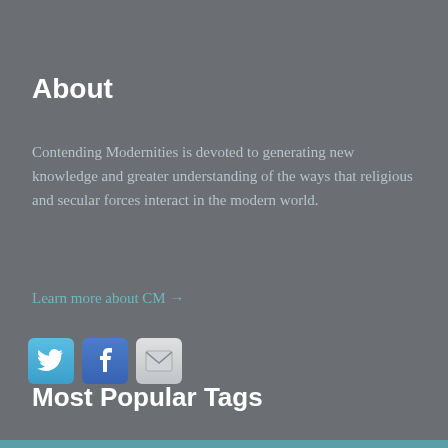About
Contending Modernities is devoted to generating new knowledge and greater understanding of the ways that religious and secular forces interact in the modern world.
Learn more about CM →
[Figure (infographic): Three social media icon buttons: Twitter (blue bird icon), Facebook (blue f icon), Email (envelope icon)]
Most Popular Tags